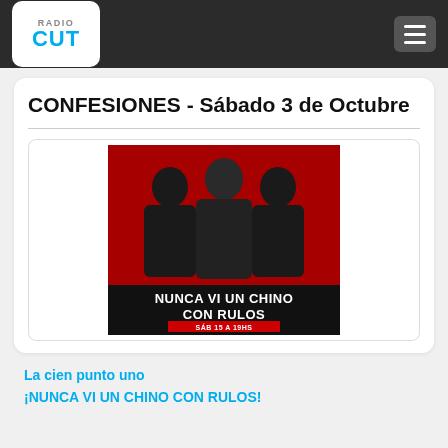RadioCut
CONFESIONES - Sábado 3 de Octubre
[Figure (photo): Promotional poster for 'Nunca Vi un Chino con Rulos' radio show featuring three people posed in black and white with red background accents. Text reads: NUNCA VI UN CHINO CON RULOS, SÁB 15 A 19HS, ZAKI SEBA, LOURDES DUDIÑO Y JAVIER NICOLASE]
La cien punto uno
¡NUNCA VI UN CHINO CON RULOS!